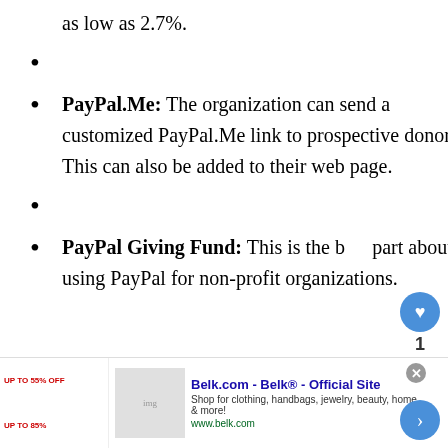as low as 2.7%.
PayPal.Me: The organization can send a customized PayPal.Me link to prospective donors. This can also be added to their web page.
PayPal Giving Fund: This is the best part about using PayPal for non-profit organizations.